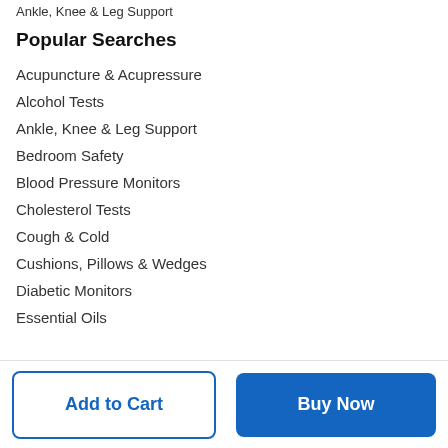Ankle, Knee & Leg Support
Popular Searches
Acupuncture & Acupressure
Alcohol Tests
Ankle, Knee & Leg Support
Bedroom Safety
Blood Pressure Monitors
Cholesterol Tests
Cough & Cold
Cushions, Pillows & Wedges
Diabetic Monitors
Essential Oils
Add to Cart
Buy Now